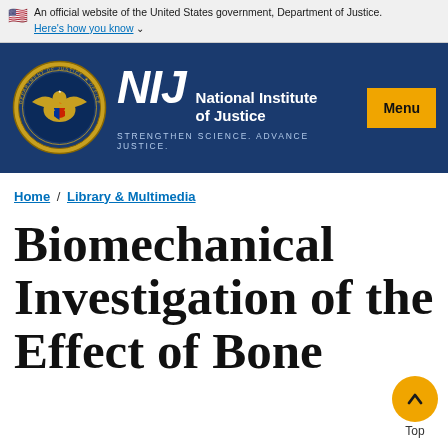An official website of the United States government, Department of Justice. Here's how you know
[Figure (logo): NIJ National Institute of Justice logo with Department of Justice seal on dark blue background. Tagline: STRENGTHEN SCIENCE. ADVANCE JUSTICE.]
Home / Library & Multimedia
Biomechanical Investigation of the Effect of Bone